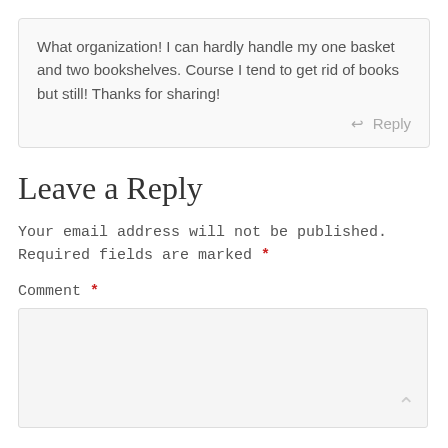What organization! I can hardly handle my one basket and two bookshelves. Course I tend to get rid of books but still! Thanks for sharing!
↩ Reply
Leave a Reply
Your email address will not be published. Required fields are marked *
Comment *